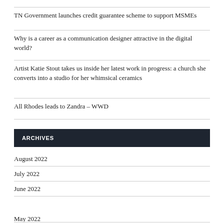TN Government launches credit guarantee scheme to support MSMEs
Why is a career as a communication designer attractive in the digital world?
Artist Katie Stout takes us inside her latest work in progress: a church she converts into a studio for her whimsical ceramics
All Rhodes leads to Zandra – WWD
ARCHIVES
August 2022
July 2022
June 2022